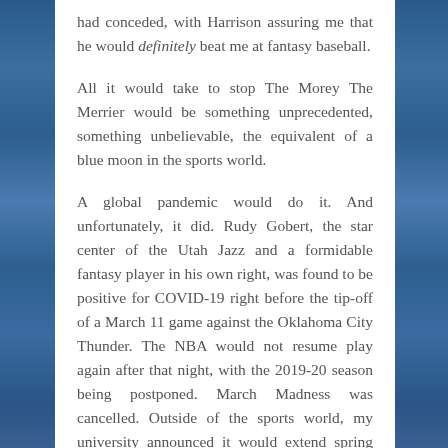had conceded, with Harrison assuring me that he would definitely beat me at fantasy baseball.
All it would take to stop The Morey The Merrier would be something unprecedented, something unbelievable, the equivalent of a blue moon in the sports world.
A global pandemic would do it. And unfortunately, it did. Rudy Gobert, the star center of the Utah Jazz and a formidable fantasy player in his own right, was found to be positive for COVID-19 right before the tip-off of a March 11 game against the Oklahoma City Thunder. The NBA would not resume play again after that night, with the 2019-20 season being postponed. March Madness was cancelled. Outside of the sports world, my university announced it would extend spring break a week and make the first three weeks of our